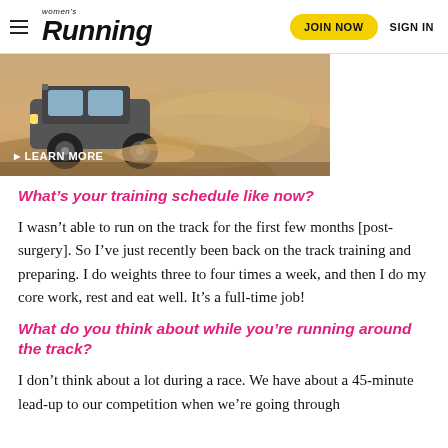Women's Running | JOIN NOW | SIGN IN
[Figure (photo): Advertisement showing a vehicle driving through sand/dirt with text 'LEARN MORE']
What's your training schedule like now?
I wasn't able to run on the track for the first few months [post-surgery]. So I've just recently been back on the track training and preparing. I do weights three to four times a week, and then I do my core work, rest and eat well. It's a full-time job!
What do you think about while you're running around the track?
I don't think about a lot during a race. We have about a 45-minute lead-up to our competition when we're going through